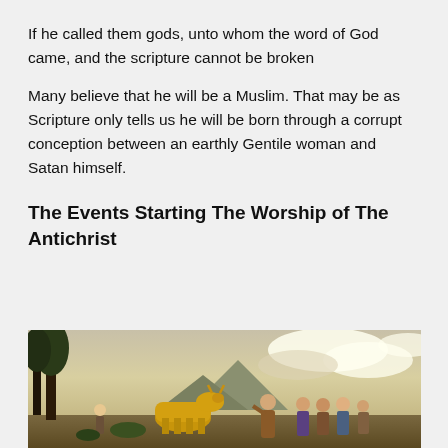If he called them gods, unto whom the word of God came, and the scripture cannot be broken
Many believe that he will be a Muslim. That may be as Scripture only tells us he will be born through a corrupt conception between an earthly Gentile woman and Satan himself.
The Events Starting The Worship of The Antichrist
[Figure (illustration): A classical painting depicting a scene with a golden calf idol being worshipped, with robed figures gesturing toward it, trees in the background, and dramatic cloudy skies.]